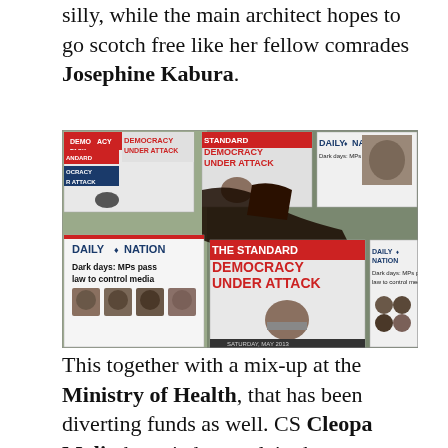silly, while the main architect hopes to go scotch free like her fellow comrades Josephine Kabura.
[Figure (photo): A photograph of a newspaper stand showing multiple Kenyan newspaper front pages, prominently featuring headlines 'DEMOCRACY UNDER ATTACK' (The Standard) and 'Dark days: MPs pass law to control media' (Daily Nation). A hand is visible reaching for a newspaper.]
This together with a mix-up at the Ministry of Health, that has been diverting funds as well. CS Cleopa Maliu has tried to explain the